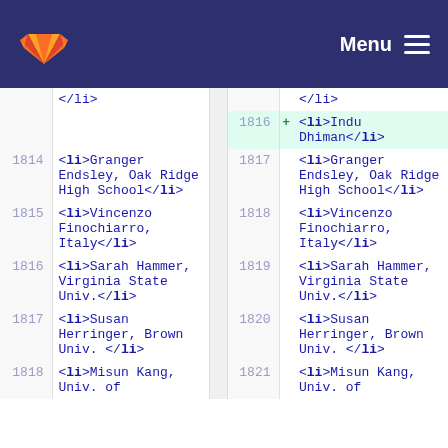GitLab Menu
| left-linenum | left-code | sep | right-linenum | marker | right-code |
| --- | --- | --- | --- | --- | --- |
|  | </li> |  |  |  | </li> |
|  |  |  | 1816 | + | <li>Indu Dhiman</li> |
| 1814 | <li>Granger Endsley, Oak Ridge High School</li> |  | 1817 |  | <li>Granger Endsley, Oak Ridge High School</li> |
| 1815 | <li>Vincenzo Finochiarro, Italy</li> |  | 1818 |  | <li>Vincenzo Finochiarro, Italy</li> |
| 1816 | <li>Sarah Hammer, Virginia State Univ.</li> |  | 1819 |  | <li>Sarah Hammer, Virginia State Univ.</li> |
| 1817 | <li>Susan Herringer, Brown Univ.</li> |  | 1820 |  | <li>Susan Herringer, Brown Univ.</li> |
| 1818 | <li>Misun Kang, Univ. of |  | 1821 |  | <li>Misun Kang, Univ. of |